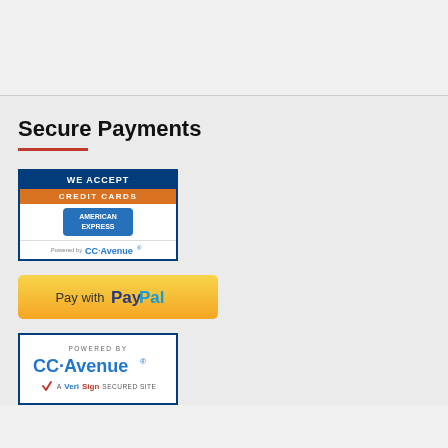Secure Payments
[Figure (logo): CC Avenue credit card acceptance badge showing WE ACCEPT CREDIT CARDS with American Express logo, Powered by CC Avenue]
[Figure (logo): Pay with PayPal button in yellow/gold color]
[Figure (logo): CC Avenue Powered By badge with VeriSign Secured Site certification]